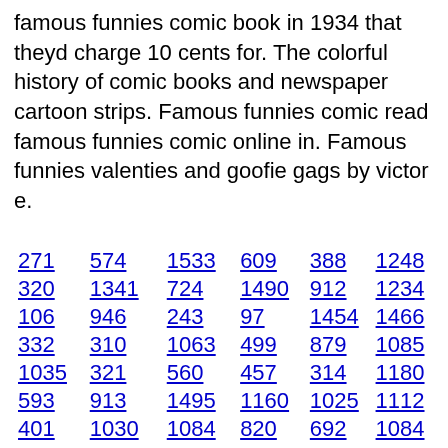famous funnies comic book in 1934 that theyd charge 10 cents for. The colorful history of comic books and newspaper cartoon strips. Famous funnies comic read famous funnies comic online in. Famous funnies valenties and goofie gags by victor e.
271  574  1533  609  388  1248
320  1341  724  1490  912  1234
106  946  243  97  1454  1466
332  310  1063  499  879  1085
1035  321  560  457  314  1180
593  913  1495  1160  1025  1112
401  1030  1084  820  692  1084